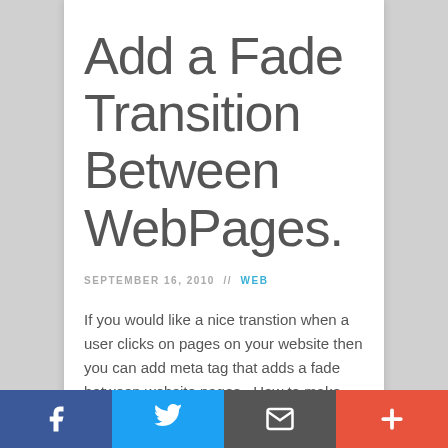Add a Fade Transition Between WebPages.
SEPTEMBER 16, 2010  //  WEB
If you would like a nice transtion when a user clicks on pages on your website then you can add meta tag that adds a fade between website pages.. How to make web pages fade,